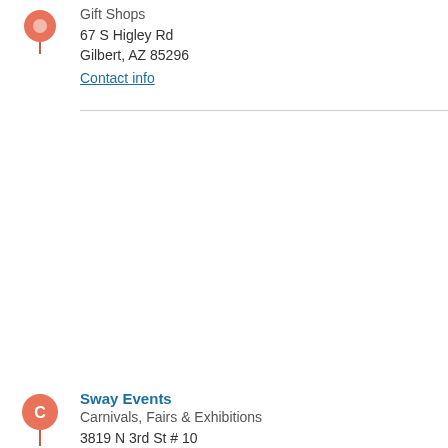[Figure (illustration): Red/salmon map pin marker without letter label, pointing downward]
Gift Shops
67 S Higley Rd
Gilbert, AZ 85296
Contact info
[Figure (map): Large map area showing local streets around Gilbert/Phoenix AZ]
[Figure (illustration): Red/salmon map pin marker with letter C, pointing downward]
Sway Events
Carnivals, Fairs & Exhibitions
3819 N 3rd St # 10
Phoenix, AZ 85012